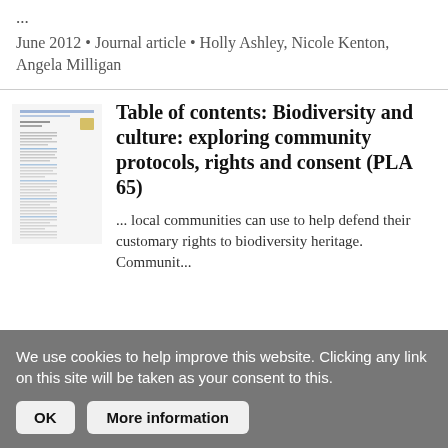...
June 2012 • Journal article • Holly Ashley, Nicole Kenton, Angela Milligan
[Figure (screenshot): Thumbnail image of a document page with text columns and small logo]
Table of contents: Biodiversity and culture: exploring community protocols, rights and consent (PLA 65)
... local communities can use to help defend their customary rights to biodiversity heritage. Community...
We use cookies to help improve this website. Clicking any link on this site will be taken as your consent to this.
OK
More information